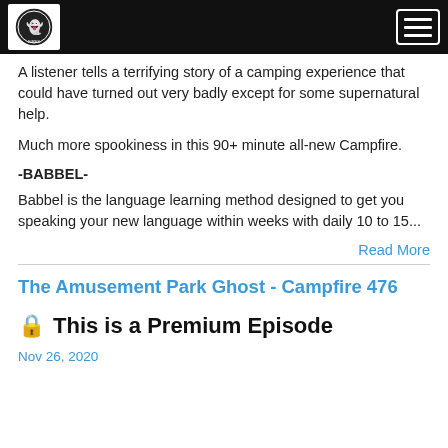[Logo] [Menu button]
A listener tells a terrifying story of a camping experience that could have turned out very badly except for some supernatural help.
Much more spookiness in this 90+ minute all-new Campfire.
-BABBEL-
Babbel is the language learning method designed to get you speaking your new language within weeks with daily 10 to 15...
Read More
The Amusement Park Ghost - Campfire 476
🔒 This is a Premium Episode
Nov 26, 2020